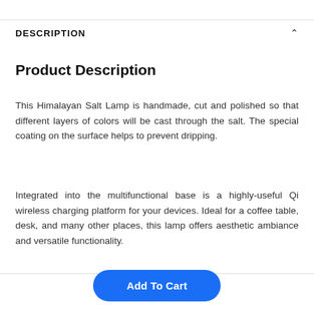DESCRIPTION
Product Description
This Himalayan Salt Lamp is handmade, cut and polished so that different layers of colors will be cast through the salt. The special coating on the surface helps to prevent dripping.
Integrated into the multifunctional base is a highly-useful Qi wireless charging platform for your devices. Ideal for a coffee table, desk, and many other places, this lamp offers aesthetic ambiance and versatile functionality.
Add To Cart